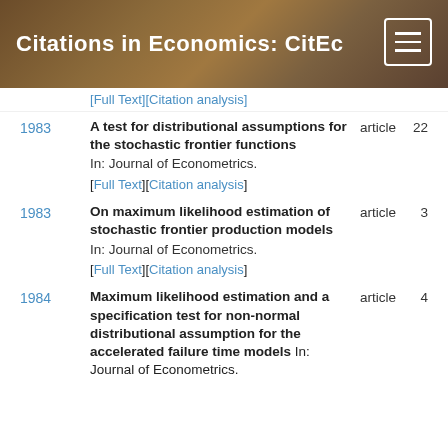Citations in Economics: CitEc
[Full Text][Citation analysis]
1983 | A test for distributional assumptions for the stochastic frontier functions | article | 22 | In: Journal of Econometrics. [Full Text][Citation analysis]
1983 | On maximum likelihood estimation of stochastic frontier production models | article | 3 | In: Journal of Econometrics. [Full Text][Citation analysis]
1984 | Maximum likelihood estimation and a specification test for non-normal distributional assumption for the accelerated failure time models | article | 4 | In: Journal of Econometrics.